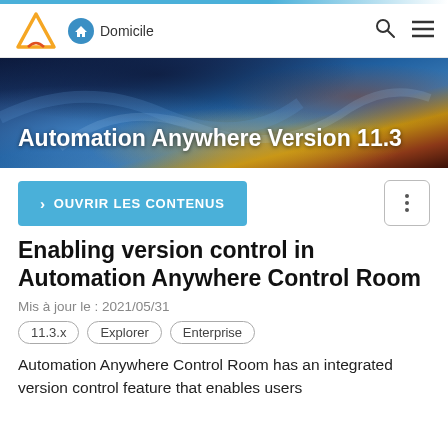Domicile
[Figure (illustration): Automation Anywhere logo (stylized orange A) with navigation bar showing Domicile home link, search icon, and hamburger menu]
[Figure (photo): Dark blue and gold abstract fluid art banner with text 'Automation Anywhere Version 11.3']
Enabling version control in Automation Anywhere Control Room
Mis à jour le : 2021/05/31
11.3.x
Explorer
Enterprise
Automation Anywhere Control Room has an integrated version control feature that enables users